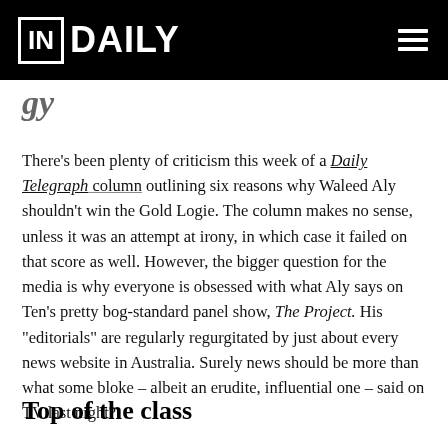InDaily
g y
There’s been plenty of criticism this week of a Daily Telegraph column outlining six reasons why Waleed Aly shouldn’t win the Gold Logie. The column makes no sense, unless it was an attempt at irony, in which case it failed on that score as well. However, the bigger question for the media is why everyone is obsessed with what Aly says on Ten’s pretty bog-standard panel show, The Project. His “editorials” are regularly regurgitated by just about every news website in Australia. Surely news should be more than what some bloke – albeit an erudite, influential one – said on TV last night?
Top of the class